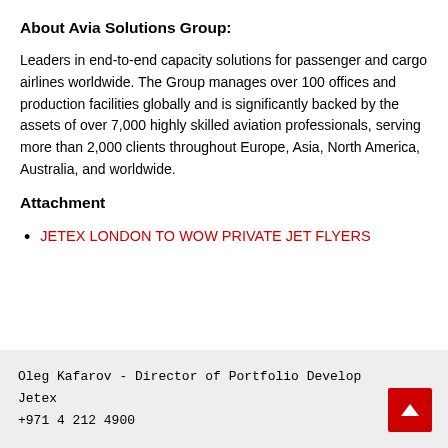About Avia Solutions Group:
Leaders in end-to-end capacity solutions for passenger and cargo airlines worldwide. The Group manages over 100 offices and production facilities globally and is significantly backed by the assets of over 7,000 highly skilled aviation professionals, serving more than 2,000 clients throughout Europe, Asia, North America, Australia, and worldwide.
Attachment
JETEX LONDON TO WOW PRIVATE JET FLYERS
Oleg Kafarov - Director of Portfolio Develop
Jetex
+971 4 212 4900